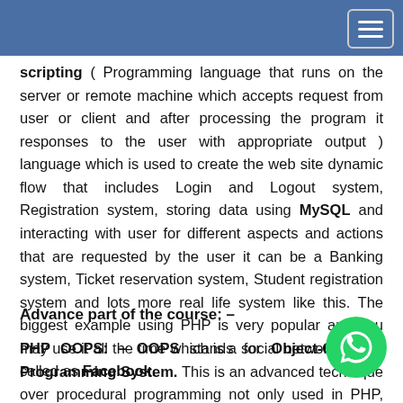scripting ( Programming language that runs on the server or remote machine which accepts request from user or client and after processing the program it responses to the user with appropriate output ) language which is used to create the web site dynamic flow that includes Login and Logout system, Registration system, storing data using MySQL and interacting with user for different aspects and actions that are requested by the user it can be a Banking system, Ticket reservation system, Student registration system and lots more real life system like this. The biggest example using PHP is very popular and you may use it all the time which is a social networking site called as Facebook.
Advance part of the course: –
PHP OOPS: – OOPS stands for Object Oriented Programming System. This is an advanced technique over procedural programming not only used in PHP, this